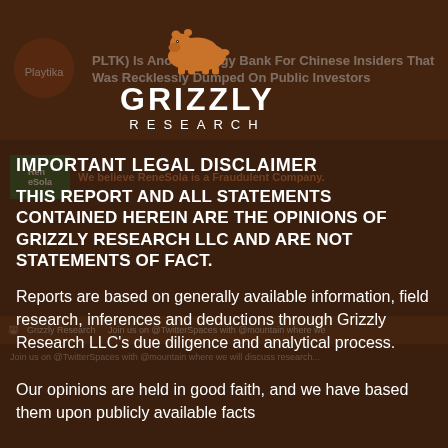[Figure (logo): Grizzly Research LLC logo — brown bear silhouette with GRIZZLY RESEARCH text]
IMPORTANT LEGAL DISCLAIMER
THIS REPORT AND ALL STATEMENTS CONTAINED HEREIN ARE THE OPINIONS OF GRIZZLY RESEARCH LLC AND ARE NOT STATEMENTS OF FACT.
Reports are based on generally available information, field research, inferences and deductions through Grizzly Research LLC's due diligence and analytical process.
Our opinions are held in good faith, and we have based them upon publicly available facts